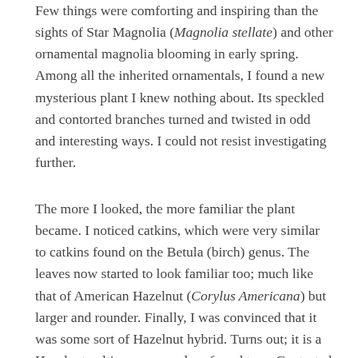Few things were comforting and inspiring than the sights of Star Magnolia (Magnolia stellate) and other ornamental magnolia blooming in early spring. Among all the inherited ornamentals, I found a new mysterious plant I knew nothing about. Its speckled and contorted branches turned and twisted in odd and interesting ways. I could not resist investigating further.
The more I looked, the more familiar the plant became. I noticed catkins, which were very similar to catkins found on the Betula (birch) genus. The leaves now started to look familiar too; much like that of American Hazelnut (Corylus Americana) but larger and rounder. Finally, I was convinced that it was some sort of Hazelnut hybrid. Turns out; it is a Hazelnut cultivar commonly referred to as Contorted Filbert, Corkscrew Hazel, or Harry Lauder's Walking Stick.